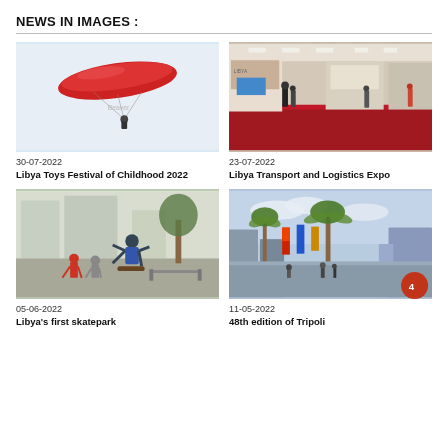NEWS IN IMAGES :
[Figure (photo): Paraglider with red wing against white sky]
30-07-2022
Libya Toys Festival of Childhood 2022
[Figure (photo): Exhibition hall with booths and red carpet, visitors walking]
23-07-2022
Libya Transport and Logistics Expo
[Figure (photo): Skateboarder doing trick, children watching, outdoor skatepark]
05-06-2022
Libya's first skatepark
[Figure (photo): Street view with palm trees and colorful banners, crowds walking]
11-05-2022
48th edition of Tripoli